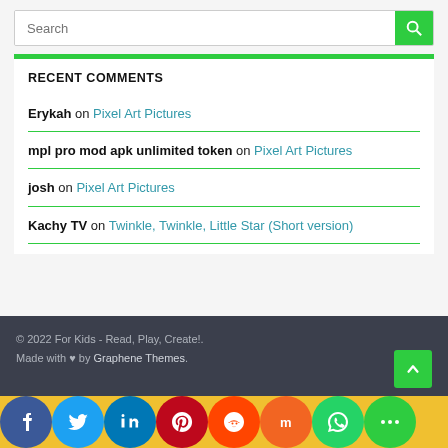Search
RECENT COMMENTS
Erykah on Pixel Art Pictures
mpl pro mod apk unlimited token on Pixel Art Pictures
josh on Pixel Art Pictures
Kachy TV on Twinkle, Twinkle, Little Star (Short version)
© 2022 For Kids - Read, Play, Create!. Made with ♥ by Graphene Themes.